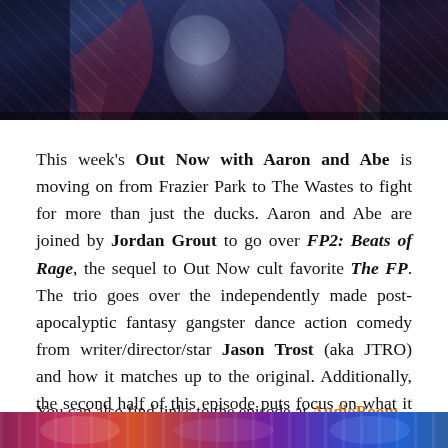[Figure (photo): Top portion of a photo showing a performer in a shiny metallic outfit with blue and red tones, concert/stage setting]
This week's Out Now with Aaron and Abe is moving on from Frazier Park to The Wastes to fight for more than just the ducks. Aaron and Abe are joined by Jordan Grout to go over FP2: Beats of Rage, the sequel to Out Now cult favorite The FP. The trio goes over the independently made post-apocalyptic fantasy gangster dance action comedy from writer/director/star Jason Trost (aka JTRO) and how it matches up to the original. Additionally, the second half of this episode puts focus on what it is that makes oddball cult movies like this so appealing, complete with some examples to further expand upon the subject. So now, if you've got an hour or so to kill...
You can also find links to the episode at AudioBoom or Spotify. Subscribe via iTunes HERE
[Figure (photo): Bottom strip of a colorful photo with vibrant reds, purples and blues]